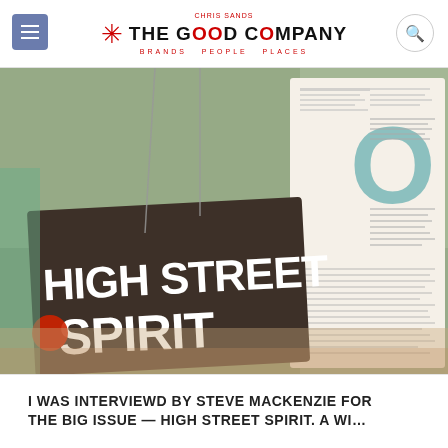CHRIS SANDS THE GOOD COMPANY BRANDS PEOPLE PLACES
[Figure (photo): Open magazine spread showing an article titled 'HIGH STREET SPIRIT' in large white bold text on a dark background, with text columns visible on the right page and a teal decorative letter 'O']
I WAS INTERVIEWD BY STEVE MACKENZIE FOR THE BIG ISSUE — HIGH STREET SPIRIT. A WI…